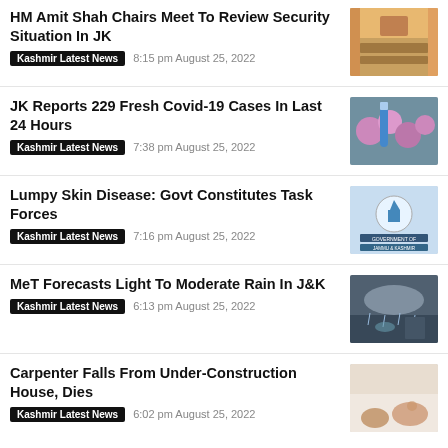HM Amit Shah Chairs Meet To Review Security Situation In JK
Kashmir Latest News   8:15 pm August 25, 2022
[Figure (photo): Officials seated at a meeting table, Indian flag visible]
JK Reports 229 Fresh Covid-19 Cases In Last 24 Hours
Kashmir Latest News   7:38 pm August 25, 2022
[Figure (photo): Medical test tubes with blue glove]
Lumpy Skin Disease: Govt Constitutes Task Forces
Kashmir Latest News   7:16 pm August 25, 2022
[Figure (photo): Government of Jammu & Kashmir logo/seal]
MeT Forecasts Light To Moderate Rain In J&K
Kashmir Latest News   6:13 pm August 25, 2022
[Figure (photo): People with umbrellas in rain at a market]
Carpenter Falls From Under-Construction House, Dies
Kashmir Latest News   6:02 pm August 25, 2022
[Figure (photo): Person's feet/legs visible, medical context]